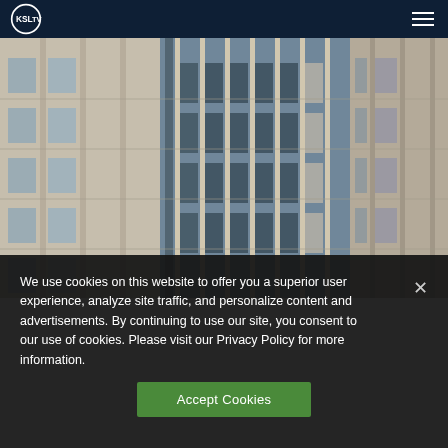KSL TV
[Figure (photo): Close-up photo of a multi-story office building facade showing windows, concrete columns, and blue sky visible above]
We use cookies on this website to offer you a superior user experience, analyze site traffic, and personalize content and advertisements. By continuing to use our site, you consent to our use of cookies. Please visit our Privacy Policy for more information.
Accept Cookies